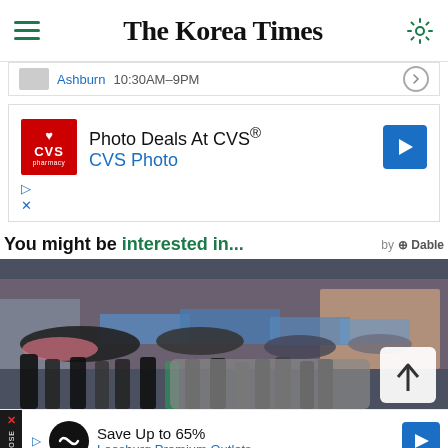The Korea Times
[Figure (screenshot): Advertisement banner showing Ashburn 10:30AM-9PM]
[Figure (screenshot): CVS Pharmacy ad: Photo Deals At CVS® / CVS Photo]
You might be interested in...
[Figure (photo): Street scene with crowd of people holding umbrellas]
[Figure (screenshot): Advertisement: Save Up to 65% Leesburg Premium Outlets]